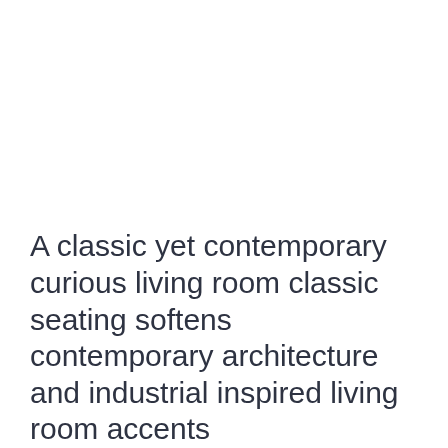[Figure (photo): Large white/blank image area occupying the upper portion of the page (image not visible in this crop)]
A classic yet contemporary curious living room classic seating softens contemporary architecture and industrial inspired living room accents